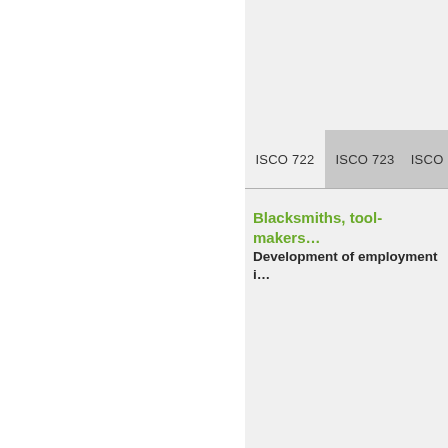ISCO 722   ISCO 723   ISCO...
Blacksmiths, tool-makers...
Development of employment i...